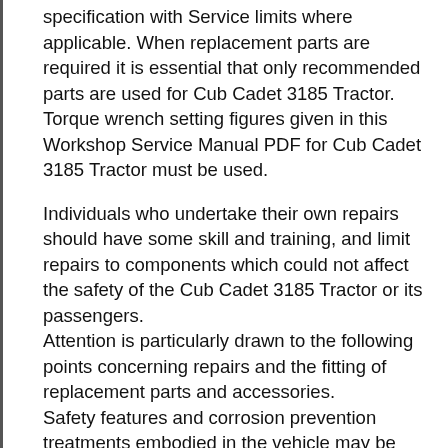specification with Service limits where applicable. When replacement parts are required it is essential that only recommended parts are used for Cub Cadet 3185 Tractor. Torque wrench setting figures given in this Workshop Service Manual PDF for Cub Cadet 3185 Tractor must be used.
Individuals who undertake their own repairs should have some skill and training, and limit repairs to components which could not affect the safety of the Cub Cadet 3185 Tractor or its passengers. Attention is particularly drawn to the following points concerning repairs and the fitting of replacement parts and accessories. Safety features and corrosion prevention treatments embodied in the vehicle may be impaired if other than recommended parts are fitted. For this Cub Cadet 3185 Tractor in the PDF Workshop Service Manual the WARNINGS,